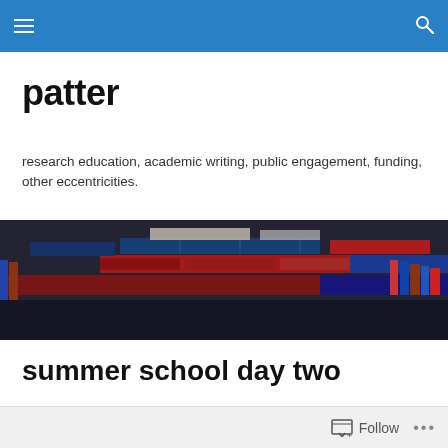patter — navigation bar
patter
research education, academic writing, public engagement, funding, other eccentricities.
[Figure (photo): A stack of academic books and textbooks piled on a surface, with visible spines of various colors including red, blue, and dark covers.]
summer school day two
Wednesday 22nd
Follow  ...